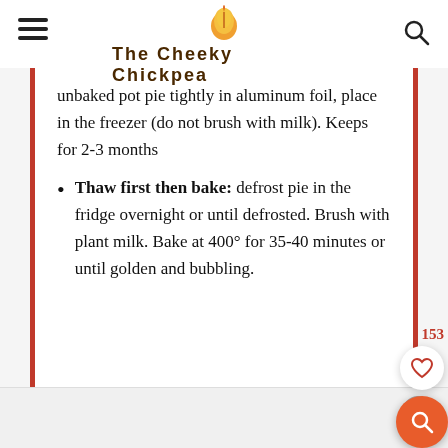THE CHEEKY CHICKPEA
unbaked pot pie tightly in aluminum foil, place in the freezer (do not brush with milk). Keeps for 2-3 months
Thaw first then bake: defrost pie in the fridge overnight or until defrosted. Brush with plant milk. Bake at 400° for 35-40 minutes or until golden and bubbling.